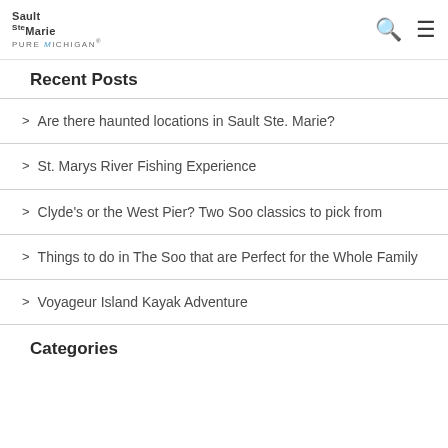Sault Ste Marie PURE MICHIGAN
Recent Posts
Are there haunted locations in Sault Ste. Marie?
St. Marys River Fishing Experience
Clyde's or the West Pier? Two Soo classics to pick from
Things to do in The Soo that are Perfect for the Whole Family
Voyageur Island Kayak Adventure
Categories